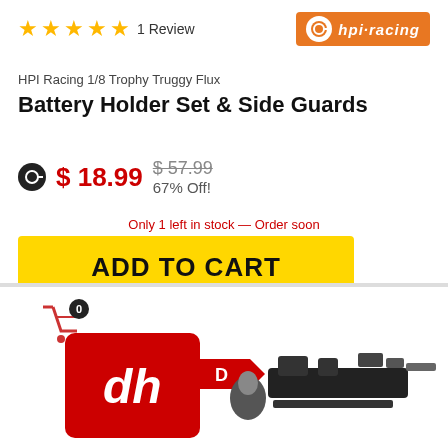★★★★★ 1 Review
[Figure (logo): HPI Racing orange logo with circular icon and 'hpi-racing' text]
HPI Racing 1/8 Trophy Truggy Flux
Battery Holder Set & Side Guards
$ 18.99  $ 57.99  67% Off!
Only 1 left in stock — Order soon
ADD TO CART
ORDER BY 2PM CT FOR SAME DAY SHIPPING
[Figure (photo): Bottom portion of product page showing cart icon with badge showing 0, red box with DH logo, and product image of battery holder set parts]